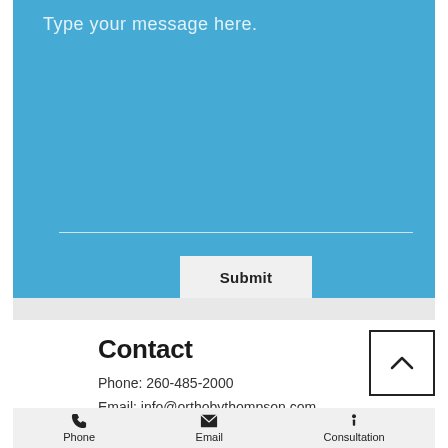Type your message here.
[Figure (screenshot): Blue message input area with text placeholder 'Type your message here.', a horizontal white line input field, and a Submit button]
Contact
Phone: 260-485-2000
Email: info@orthobythompson.com
Phone | Email | Consultation